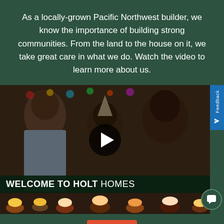As a locally-grown Pacific Northwest builder, we know the importance of building strong communities. From the land to the house on it, we take great care in what we do. Watch the video to learn more about us.
[Figure (screenshot): Video thumbnail showing a family at a birthday party celebration, with a play button overlay. Below the image is text reading 'WELCOME TO HOLT HOMES' and a strip of cupcake/party food images. A blue 'Feedback' tab appears on the right edge. A green chat bubble icon appears bottom right.]